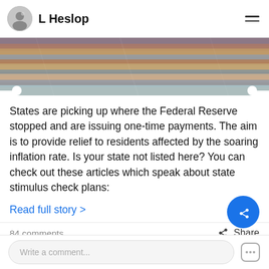L Heslop
[Figure (photo): Colorful stacked fabric or currency notes, blurred background image]
States are picking up where the Federal Reserve stopped and are issuing one-time payments. The aim is to provide relief to residents affected by the soaring inflation rate. Is your state not listed here? You can check out these articles which speak about state stimulus check plans:
Read full story >
84 comments
Share